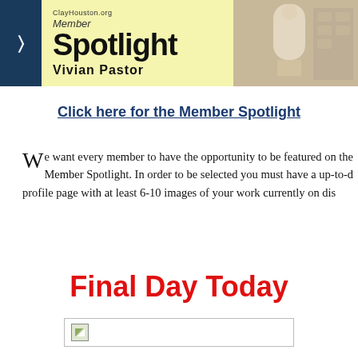[Figure (illustration): Member Spotlight banner featuring 'Vivian Pastor' text on yellow background with navigation arrow on dark blue left panel, and a photo of a person working with ceramics on the right]
Click here for the Member Spotlight
We want every member to have the opportunity to be featured on Member Spotlight. In order to be selected you must have a up-to-date profile page with at least 6-10 images of your work currently on display
Final Day Today
[Figure (photo): Broken image placeholder at the bottom of the page]